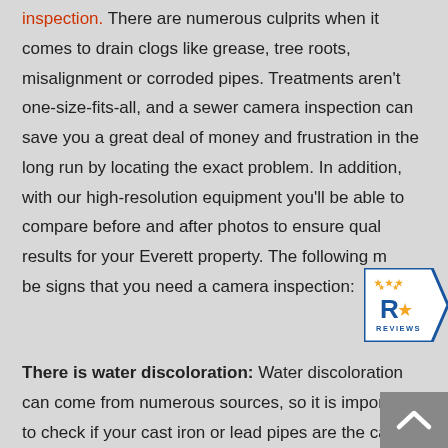inspection. There are numerous culprits when it comes to drain clogs like grease, tree roots, misalignment or corroded pipes. Treatments aren't one-size-fits-all, and a sewer camera inspection can save you a great deal of money and frustration in the long run by locating the exact problem. In addition, with our high-resolution equipment you'll be able to compare before and after photos to ensure quality results for your Everett property. The following may be signs that you need a camera inspection:
[Figure (logo): Reviews badge with blue arrow shape pointing right, showing R star logo and REVIEWS text]
There is water discoloration: Water discoloration can come from numerous sources, so it is important to check if your cast iron or lead pipes are the cause. Over time these pipes rust and flake off into the water supply. Rubber plumbing materials also can
[Figure (other): Grey scroll-to-top button with white upward chevron arrow in bottom right corner]